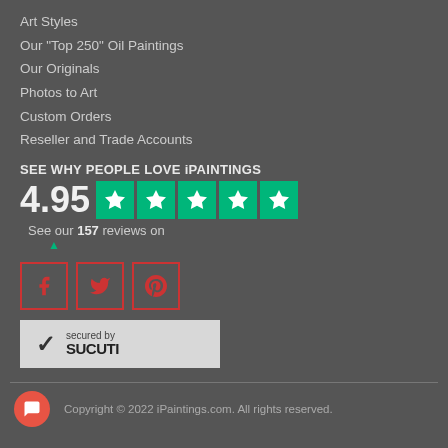Art Styles
Our "Top 250" Oil Paintings
Our Originals
Photos to Art
Custom Orders
Reseller and Trade Accounts
SEE WHY PEOPLE LOVE iPAINTINGS
[Figure (infographic): Trustpilot rating showing 4.95 out of 5 stars with five green star boxes, and text 'See our 157 reviews on' with Trustpilot arrow logo]
[Figure (infographic): Social media icons for Facebook, Twitter, and Pinterest in red-bordered boxes]
[Figure (logo): Sucuri security badge with checkmark, 'secured by' text, and 'SUCURI' logo on light grey background]
Copyright © 2022 iPaintings.com. All rights reserved.